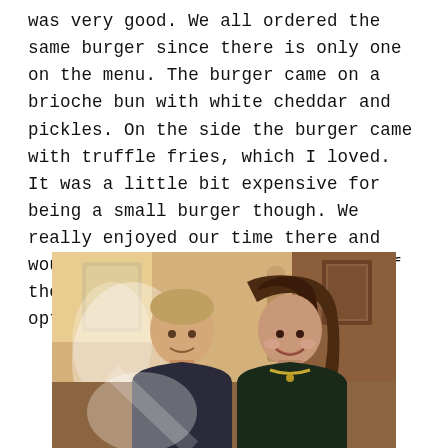was very good. We all ordered the same burger since there is only one on the menu. The burger came on a brioche bun with white cheddar and pickles. On the side the burger came with truffle fries, which I loved. It was a little bit expensive for being a small burger though. We really enjoyed our time there and would love to go back to try all of the other good looking dinner options.
[Figure (photo): A man and a woman posing together inside a restaurant. The man is on the left wearing a dark polo shirt, and the woman is on the right with brown hair wearing a dark top with a necklace. The background shows warm-toned restaurant interior with artwork on the walls.]